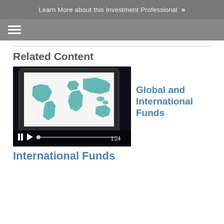Learn More about this Investment Professional »
[Figure (screenshot): Navigation bar with hamburger menu icon on gray background]
Related Content
[Figure (screenshot): Video thumbnail showing a tablet displaying a world map in teal, with video controls showing 1:24 duration]
Global and International Funds